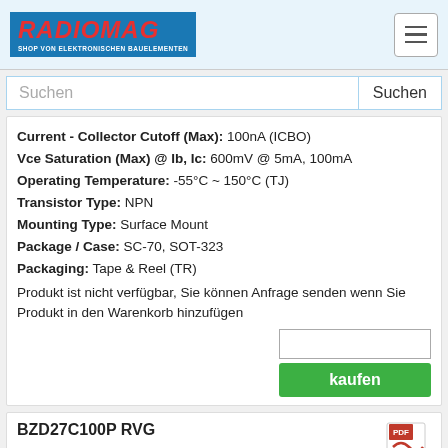[Figure (logo): Radiomag logo - red italic text on blue background with subtitle 'SHOP VON ELEKTRONISCHEN BAUELEMENTEN']
Suchen
Current - Collector Cutoff (Max): 100nA (ICBO)
Vce Saturation (Max) @ Ib, Ic: 600mV @ 5mA, 100mA
Operating Temperature: -55°C ~ 150°C (TJ)
Transistor Type: NPN
Mounting Type: Surface Mount
Package / Case: SC-70, SOT-323
Packaging: Tape & Reel (TR)
Produkt ist nicht verfügbar, Sie können Anfrage senden wenn Sie Produkt in den Warenkorb hinzufügen
kaufen
BZD27C100P RVG
[Figure (photo): BZD27C100P RVG product image placeholder]
Hersteller: Taiwan Semiconductor Corporation
Description: DIODE ZENER 100V 1W SUB SMA
Current - Reverse Leakage @ Vr: 1 μA @ 75 V
Voltage - Forward (Vf) (Max) @ If: 1.2 V @ 200 mA